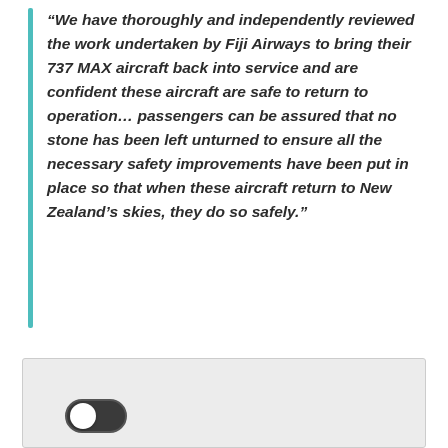“We have thoroughly and independently reviewed the work undertaken by Fiji Airways to bring their 737 MAX aircraft back into service and are confident these aircraft are safe to return to operation… passengers can be assured that no stone has been left unturned to ensure all the necessary safety improvements have been put in place so that when these aircraft return to New Zealand’s skies, they do so safely.”
[Figure (other): A light grey rectangular image placeholder box with a toggle switch (off position shown at bottom left, dark background with white knob).]